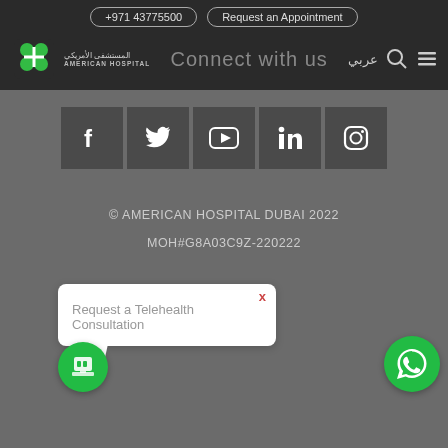+971 43775500   Request an Appointment
[Figure (logo): American Hospital Dubai logo with Arabic text and 'Connect with us' text, navigation icons]
[Figure (infographic): Social media icons: Facebook, Twitter, YouTube, LinkedIn, Instagram]
© AMERICAN HOSPITAL DUBAI 2022
MOH#G8A03C9Z-220222
[Figure (screenshot): Popup: Request a Telehealth Consultation with X close button, green telehealth icon button, WhatsApp button]